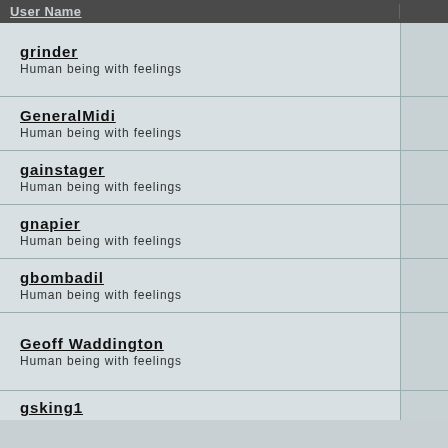| User Name |  |
| --- | --- |
| grinder
Human being with feelings |  |
| GeneralMidi
Human being with feelings |  |
| gainstager
Human being with feelings |  |
| gnapier
Human being with feelings |  |
| gbombadil
Human being with feelings |  |
| Geoff Waddington
Human being with feelings |  |
| gsking1 |  |